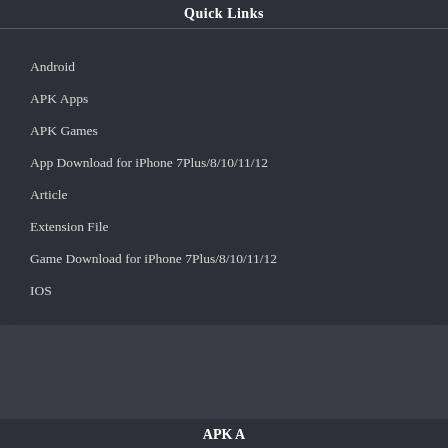Quick Links
Android
APK Apps
APK Games
App Download for iPhone 7Plus/8/10/11/12
Article
Extension File
Game Download for iPhone 7Plus/8/10/11/12
IOS
APK A